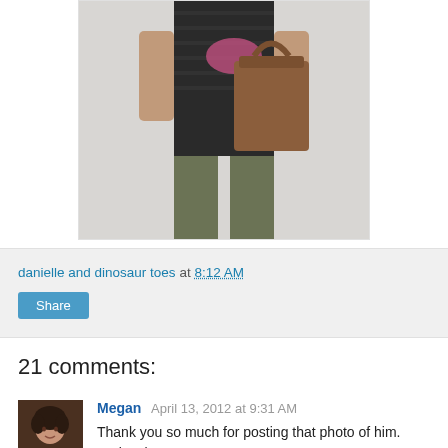[Figure (photo): Partial photo of a person from torso down, holding a brown leather tote bag, wearing a black striped top and olive/khaki trousers, against a light grey background.]
danielle and dinosaur toes at 8:12 AM
Share
21 comments:
[Figure (photo): Small circular avatar photo of Megan, showing a woman with dark curly hair wearing a dark top.]
Megan  April 13, 2012 at 9:31 AM
Thank you so much for posting that photo of him. Seriously.

Let's talk blogging, yes? I feel the same way as you. When I lose a follower I slowly weep while listening to Iron & Wine and contemplate never posting again. If I don't LOVE an outfit or the photos, I sit for a few minutes before pressing